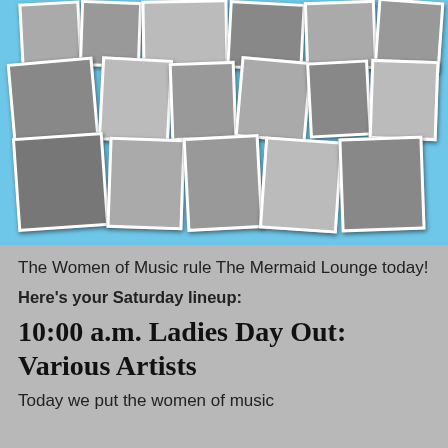[Figure (photo): Collage of black and white and color photos of various women musicians performing on stage and posing, arranged on a light blue background with white polaroid-style borders]
The Women of Music rule The Mermaid Lounge today!
Here's your Saturday lineup:
10:00 a.m. Ladies Day Out: Various Artists
Today we put the women of music